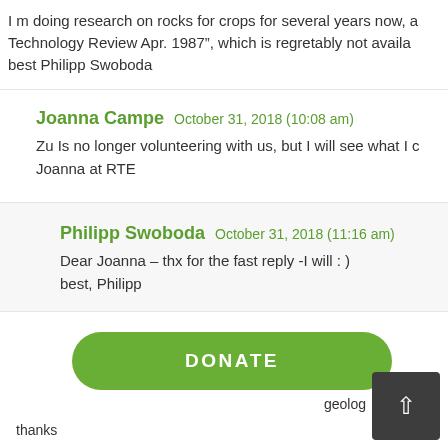I m doing research on rocks for crops for several years now, a Technology Review Apr. 1987", which is regretably not availa best Philipp Swoboda
Joanna Campe  October 31, 2018 (10:08 am)
Zu Is no longer volunteering with us, but I will see what I c Joanna at RTE
Philipp Swoboda  October 31, 2018 (11:16 am)
Dear Joanna – thx for the fast reply -I will : )
best, Philipp
DONATE
geolog
thanks